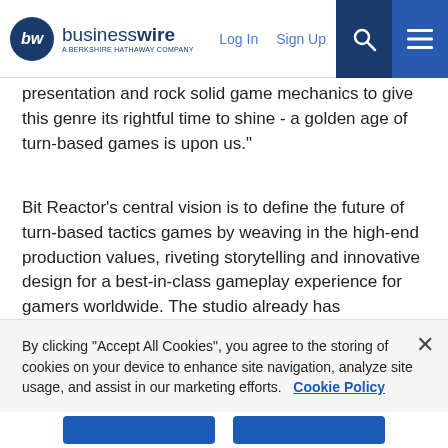businesswire — A BERKSHIRE HATHAWAY COMPANY | Log In | Sign Up
presentation and rock solid game mechanics to give this genre its rightful time to shine - a golden age of turn-based games is upon us."
Bit Reactor's central vision is to define the future of turn-based tactics games by weaving in the high-end production values, riveting storytelling and innovative design for a best-in-class gameplay experience for gamers worldwide. The studio already has unannounced titles in development and is actively recruiting experienced developers for multiple programming, design, and creative roles both for the studio in Maryland, as well as remote talent.
For more information on Bit Reactor and job opportunities both in
By clicking “Accept All Cookies”, you agree to the storing of cookies on your device to enhance site navigation, analyze site usage, and assist in our marketing efforts.   Cookie Policy